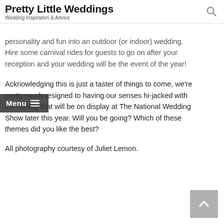Pretty Little Weddings
Wedding Inspiration & Advice
personality and fun into an outdoor (or indoor) wedding. Hire some carnival rides for guests to go on after your reception and your wedding will be the event of the year!
Acknowledging this is just a taster of things to come, we're pretty much resigned to having our senses hi-jacked with the variety that will be on display at The National Wedding Show later this year. Will you be going? Which of these themes did you like the best?
All photography courtesy of Juliet Lemon.